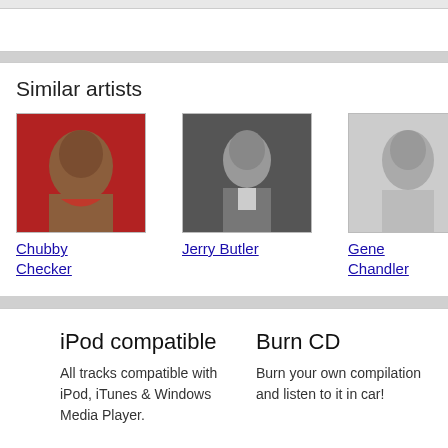Similar artists
[Figure (photo): Photo of Chubby Checker against red background]
Chubby Checker
[Figure (photo): Black and white photo of Jerry Butler singing]
Jerry Butler
[Figure (photo): Black and white photo of Gene Chandler smiling]
Gene Chandler
iPod compatible
All tracks compatible with iPod, iTunes & Windows Media Player.
Burn CD
Burn your own compilation and listen to it in car!
© 2006-2022, www.mp3million.com   Help | Legal Info | Terms and Conditions | Privacy